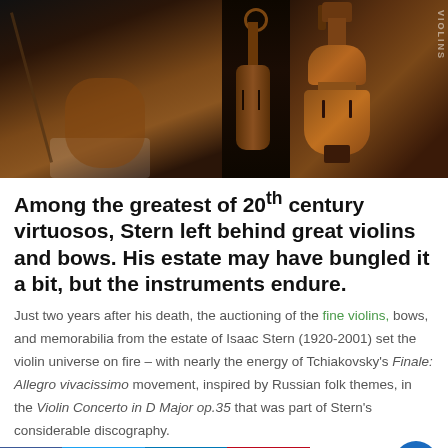[Figure (photo): Three-panel photo: left panel shows Isaac Stern in tuxedo holding a violin and bow, center panel shows a close-up side view of a violin, right panel shows a full front view of a violin with a watermark reading 'VIOLINS']
Among the greatest of 20th century virtuosos, Stern left behind great violins and bows. His estate may have bungled it a bit, but the instruments endure.
Just two years after his death, the auctioning of the fine violins, bows, and memorabilia from the estate of Isaac Stern (1920-2001) set the violin universe on fire – with nearly the energy of Tchiakovsky's Finale: Allegro vivacissimo movement, inspired by Russian folk themes, in the Violin Concerto in D Major op.35 that was part of Stern's considerable discography.